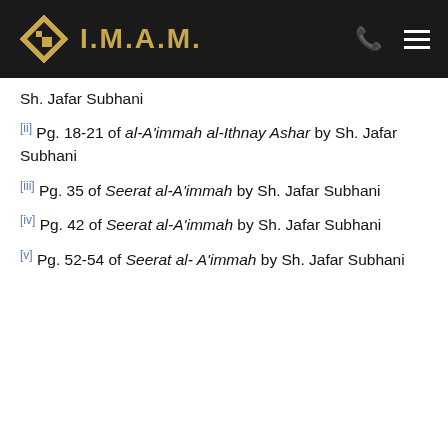I.M.A.M.
Sh. Jafar Subhani
[ii] Pg. 18-21 of al-A'immah al-Ithnay Ashar by Sh. Jafar Subhani
[iii] Pg. 35 of Seerat al-A'immah by Sh. Jafar Subhani
[iv] Pg. 42 of Seerat al-A'immah by Sh. Jafar Subhani
[v] Pg. 52-54 of Seerat al- A'immah by Sh. Jafar Subhani